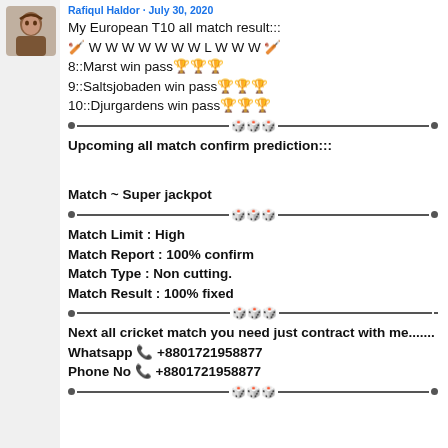[Figure (photo): Avatar/profile photo of a person]
Rafiqul Haldor · July 30, 2020
My European T10 all match result:::
🏏 W W W W W W W L W W W 🏏
8::Marst win pass🏆🏆🏆
9::Saltsjobaden win pass🏆🏆🏆
10::Djurgardens win pass🏆🏆🏆
Upcoming all match confirm prediction:::
Match ~ Super jackpot
Match Limit : High
Match Report : 100% confirm
Match Type : Non cutting.
Match Result : 100% fixed
Next all cricket match you need just contract with me.......
Whatsapp 📞 +8801721958877
Phone No 📞 +8801721958877